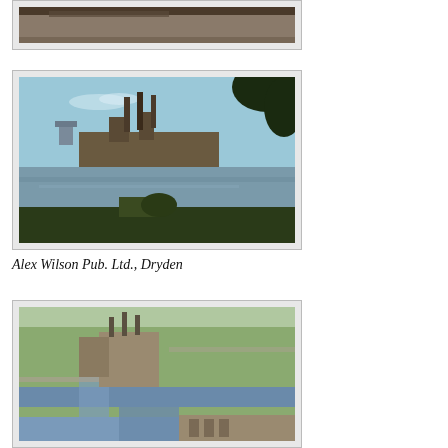[Figure (photo): Partial view of a building or industrial facility, cropped at top of page]
[Figure (photo): Industrial facility with smokestacks reflected in a river or lake, winter scene, Dryden]
Alex Wilson Pub. Ltd., Dryden
[Figure (photo): Aerial view of an industrial facility with waterway, dams or locks visible]